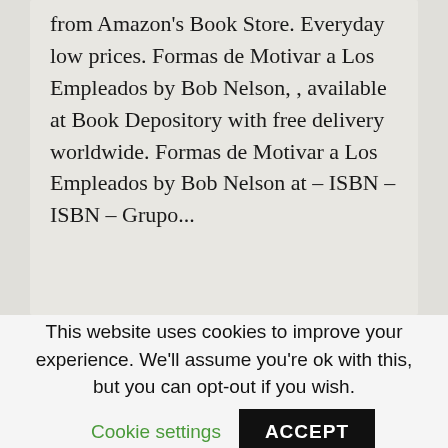from Amazon's Book Store. Everyday low prices. Formas de Motivar a Los Empleados by Bob Nelson, , available at Book Depository with free delivery worldwide. Formas de Motivar a Los Empleados by Bob Nelson at – ISBN – ISBN – Grupo...
READ MORE ›
This website uses cookies to improve your experience. We'll assume you're ok with this, but you can opt-out if you wish.
Cookie settings
ACCEPT